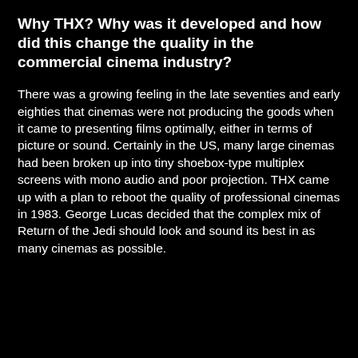Why THX? Why was it developed and how did this change the quality in the commercial cinema industry?
There was a growing feeling in the late seventies and early eighties that cinemas were not producing the goods when it came to presenting films optimally, either in terms of picture or sound. Certainly in the US, many large cinemas had been broken up into tiny shoebox-type multiplex screens with mono audio and poor projection. THX came up with a plan to reboot the quality of professional cinemas in 1983. George Lucas decided that the complex mix of Return of the Jedi should look and sound its best in as many cinemas as possible.